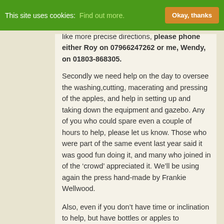This site uses cookies: Find out more. Okay, thanks
like more precise directions, please phone either Roy on 07966247262 or me, Wendy, on 01803-868305.
Secondly we need help on the day to oversee the washing,cutting, macerating and pressing of the apples, and help in setting up and taking down the equipment and gazebo. Any of you who could spare even a couple of hours to help, please let us know. Those who were part of the same event last year said it was good fun doing it, and many who joined in of the ‘crowd’ appreciated it. We’ll be using again the press hand-made by Frankie Wellwood.
Also, even if you don’t have time or inclination to help, but have bottles or apples to contribute, that would be welcome too!
And remember, The Fruit and Nut Tree Project and the Incredible Edibles are always in need of volunteers. See the details for these wonderful initiatives below, and get in touch with Wendy